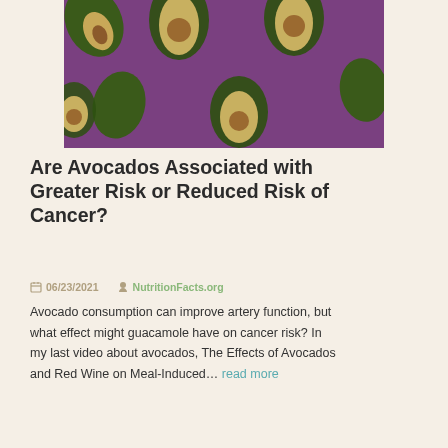[Figure (photo): Overhead/flat-lay photo of whole and halved avocados on a purple/violet background, arranged in a repeating pattern]
Are Avocados Associated with Greater Risk or Reduced Risk of Cancer?
06/23/2021   NutritionFacts.org
Avocado consumption can improve artery function, but what effect might guacamole have on cancer risk? In my last video about avocados, The Effects of Avocados and Red Wine on Meal-Induced… read more
[Figure (photo): Close-up photo of multiple whole avocados with rough dark skin, with a small orange news article badge icon in the top-right corner]